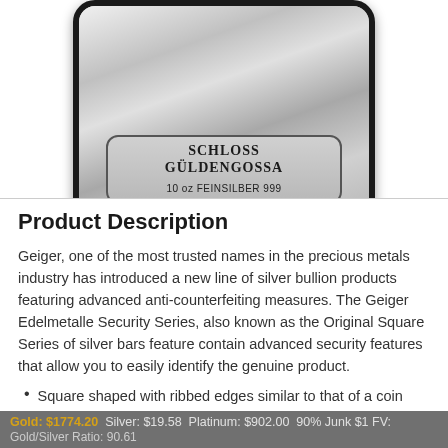[Figure (photo): A silver bullion bar from Geiger Edelmetalle, showing the Schloss Güldengossa building engraving, with text 'SCHLOSS GÜLDENGOSSA' and '10 oz FEINSILBER 999']
Product Description
Geiger, one of the most trusted names in the precious metals industry has introduced a new line of silver bullion products featuring advanced anti-counterfeiting measures. The Geiger Edelmetalle Security Series, also known as the Original Square Series of silver bars feature contain advanced security features that allow you to easily identify the genuine product.
Square shaped with ribbed edges similar to that of a coin
Gold: $1774.20  Silver: $19.58  Platinum: $902.00  90% Junk $1 FV:
Gold/Silver Ratio: 90.61